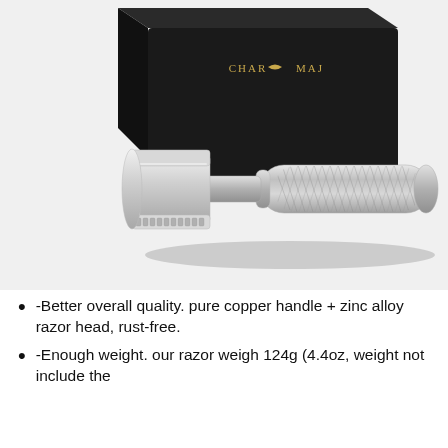[Figure (photo): A silver chrome double-edge safety razor lying in front of a black gift box with gold 'CHARMHAJ' branding text on the lid. The razor has a knurled handle and a classic safety razor head.]
-Better overall quality. pure copper handle + zinc alloy razor head, rust-free.
-Enough weight. our razor weigh 124g (4.4oz, weight not include the